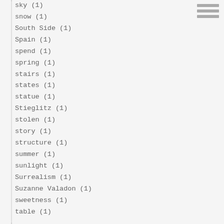sky (1)
snow (1)
South Side (1)
Spain (1)
spend (1)
spring (1)
stairs (1)
states (1)
statue (1)
Stieglitz (1)
stolen (1)
story (1)
structure (1)
summer (1)
sunlight (1)
Surrealism (1)
Suzanne Valadon (1)
sweetness (1)
table (1)